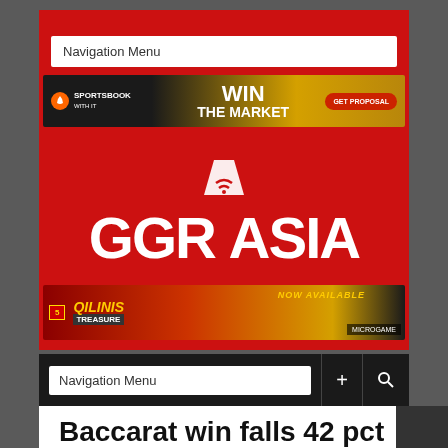Navigation Menu
[Figure (screenshot): Sportsbook advertisement banner: WIN THE MARKET with GET PROPOSAL button]
[Figure (logo): GGR Asia logo on red background with trapezoidal icon above text]
[Figure (screenshot): Qilins Treasure advertisement banner - NOW AVAILABLE, Microgame]
Navigation Menu
Baccarat win falls 42 pct on Las Vegas Strip in Aug